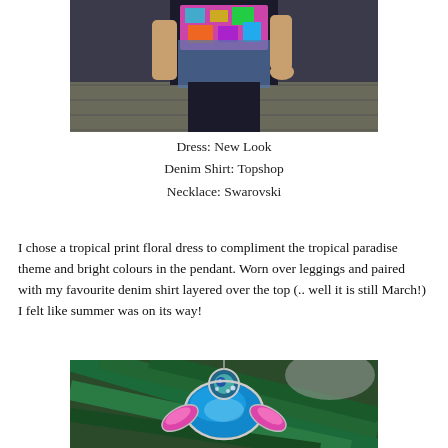[Figure (photo): Photo of a person wearing a tropical floral dress, denim shirt, and a Swarovski necklace, taken indoors.]
Dress: New Look
Denim Shirt: Topshop
Necklace: Swarovski
I chose a tropical print floral dress to compliment the tropical paradise theme and bright colours in the pendant. Worn over leggings and paired with my favourite denim shirt layered over the top (.. well it is still March!) I felt like summer was on its way!
[Figure (photo): Close-up photo of a Swarovski beetle/bug pendant necklace with blue and pink crystals, placed on tropical green palm leaves.]